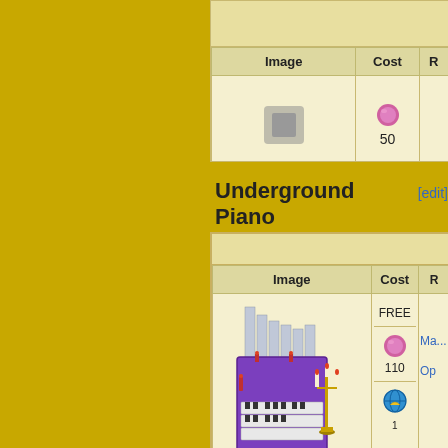[Figure (screenshot): Gold/yellow left sidebar of a wiki-style game page]
| Image | Cost | R |
| --- | --- | --- |
| [game item image - top fragment] | 50 |  |
Underground Piano [edit]
| Image | Cost | R |
| --- | --- | --- |
| [Underground Piano illustration - purple organ with candelabra] | FREE
[pink gem icon] 110
[globe icon]1 | Ma...
Ope... |